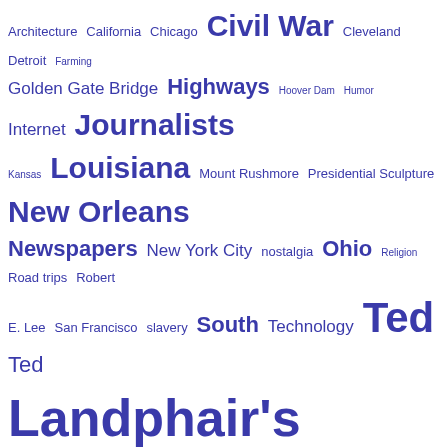[Figure (infographic): Tag cloud with blue hyperlinked terms in various font sizes: Architecture, California, Chicago, Civil War, Cleveland, Detroit, Farming, Golden Gate Bridge, Highways, Hoover Dam, Humor, Internet, Journalists, Kansas, Louisiana, Mount Rushmore, Presidential Sculpture, New Orleans, Newspapers, New York City, nostalgia, Ohio, Religion, Road trips, Robert E. Lee, San Francisco, slavery, South, Technology, Ted, Ted Landphair's America blog, Texas, Texting, Transportation, U.S. Route 11, U.S. Route 66, Ulysses S. Grant, Uncategorized, USA, Virginia, West, workplace]
CALENDAR
| M | T | W | T | F | S | S |
| --- | --- | --- | --- | --- | --- | --- |
|  |  | 1 | 2 | 3 | 4 | 5 |
| 6 | 7 | 8 | 9 | 10 | 11 | 12 |
| 13 | 14 | 15 | 16 | 17 | 18 | 19 |
| 20 | 21 | 22 | 23 | 24 | 25 | 26 |
| 27 | 28 | 29 | 30 | 31 |  |  |
« Sep    Nov »